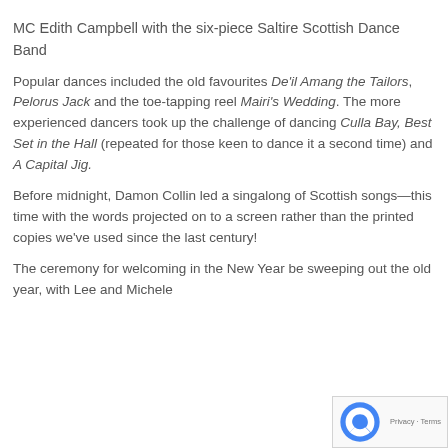MC Edith Campbell with the six-piece Saltire Scottish Dance Band
Popular dances included the old favourites De'il Amang the Tailors, Pelorus Jack and the toe-tapping reel Mairi's Wedding. The more experienced dancers took up the challenge of dancing Culla Bay, Best Set in the Hall (repeated for those keen to dance it a second time) and A Capital Jig.
Before midnight, Damon Collin led a singalong of Scottish songs—this time with the words projected on to a screen rather than the printed copies we've used since the last century!
The ceremony for welcoming in the New Year be sweeping out the old year, with Lee and Michele taking on the roles of the Old Year and the Sweeper